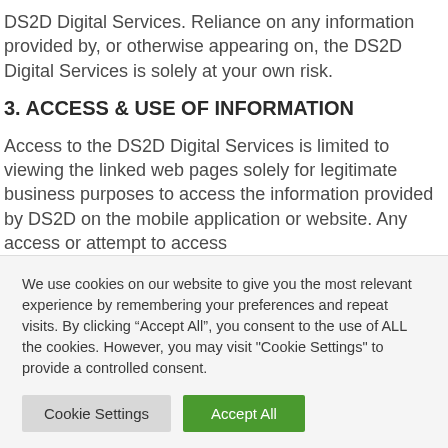DS2D Digital Services. Reliance on any information provided by, or otherwise appearing on, the DS2D Digital Services is solely at your own risk.
3. ACCESS & USE OF INFORMATION
Access to the DS2D Digital Services is limited to viewing the linked web pages solely for legitimate business purposes to access the information provided by DS2D on the mobile application or website. Any access or attempt to access
We use cookies on our website to give you the most relevant experience by remembering your preferences and repeat visits. By clicking “Accept All”, you consent to the use of ALL the cookies. However, you may visit "Cookie Settings" to provide a controlled consent.